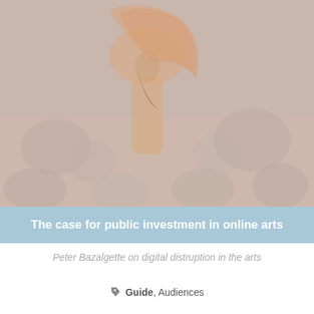[Figure (photo): Faded/muted photo of a person in orange/yellow traditional dress raising fabric overhead, surrounded by other figures, with a washed-out warm tonal overlay]
The case for public investment in online arts
Peter Bazalgette on digital distruption in the arts
Guide, Audiences